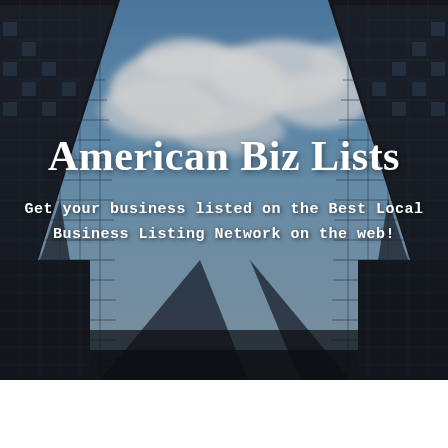[Figure (photo): Looking-up photograph of tall skyscrapers / glass office buildings against a blue sky with white clouds. Dark glass building facades form the left and right edges of the image, with sky and clouds visible in the center.]
American Biz Lists
Get your business listed on the Best Local Business Listing Network on the web!